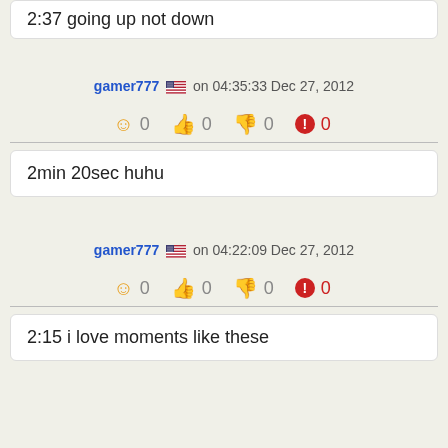2:37 going up not down
gamer777  on 04:35:33 Dec 27, 2012
0  0  0  0
2min 20sec huhu
gamer777  on 04:22:09 Dec 27, 2012
0  0  0  0
2:15 i love moments like these